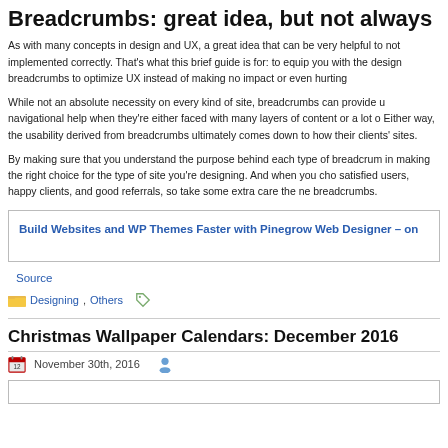Breadcrumbs: great idea, but not always
As with many concepts in design and UX, a great idea that can be very helpful to not implemented correctly. That's what this brief guide is for: to equip you with the design breadcrumbs to optimize UX instead of making no impact or even hurting
While not an absolute necessity on every kind of site, breadcrumbs can provide u navigational help when they're either faced with many layers of content or a lot o Either way, the usability derived from breadcrumbs ultimately comes down to how their clients' sites.
By making sure that you understand the purpose behind each type of breadcrum in making the right choice for the type of site you're designing. And when you cho satisfied users, happy clients, and good referrals, so take some extra care the ne breadcrumbs.
Build Websites and WP Themes Faster with Pinegrow Web Designer – on
Source
Designing, Others
Christmas Wallpaper Calendars: December 2016
November 30th, 2016